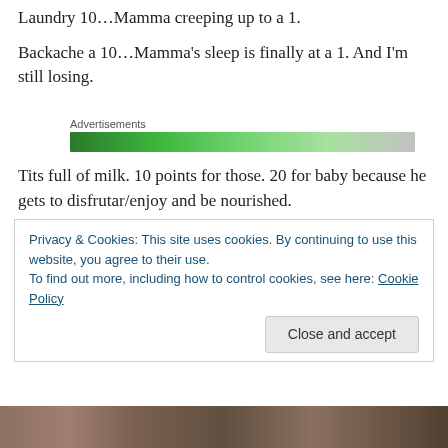Laundry 10…Mamma creeping up to a 1.
Backache a 10…Mamma's sleep is finally at a 1. And I'm still losing.
[Figure (other): Green advertisement progress bar labeled 'Advertisements']
Tits full of milk. 10 points for those. 20 for baby because he gets to disfrutar/enjoy and be nourished.
Privacy & Cookies: This site uses cookies. By continuing to use this website, you agree to their use.
To find out more, including how to control cookies, see here: Cookie Policy
[Close and accept button]
[Figure (photo): Partial photo visible at bottom of page]